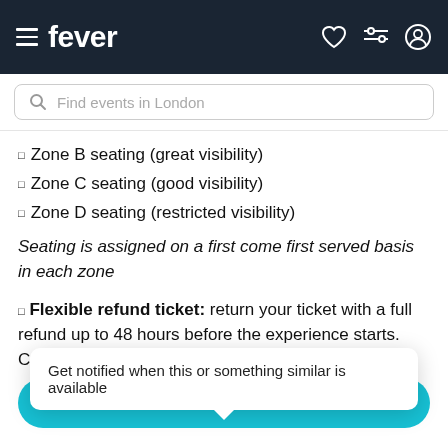fever — app navigation header with menu, search, heart, filter, and profile icons
Find events in London
Zone B seating (great visibility)
Zone C seating (good visibility)
Zone D seating (restricted visibility)
Seating is assigned on a first come first served basis in each zone
Flexible refund ticket: return your ticket with a full refund up to 48 hours before the experience starts. Conditions apply: please see the FAQs for m
Get notified when this or something similar is available
GET NOTIFIED